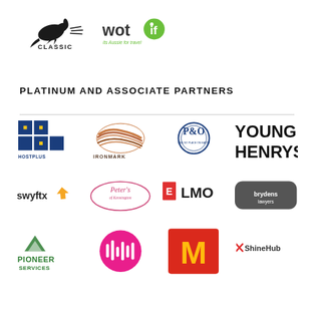[Figure (logo): Classic (kangaroo logo) and Wotif logos side by side]
PLATINUM AND ASSOCIATE PARTNERS
[Figure (logo): Row 1: Hostplus, Ironmark, P&O, Young Henrys logos]
[Figure (logo): Row 2: Swyftx, Peter's of Kensington, ELMO, Brydens Lawyers logos]
[Figure (logo): Row 3 (partial): Pioneer Services, (pink audio logo), McDonald's, ShineHub logos]